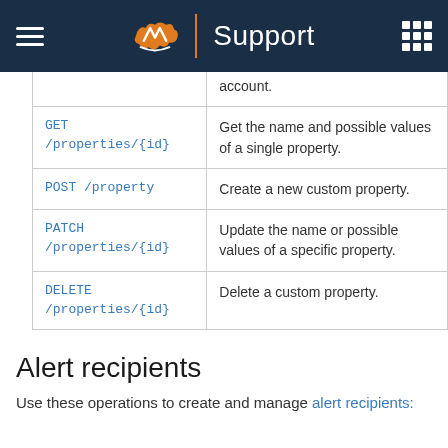Support
| Endpoint | Description |
| --- | --- |
| (partial row) | account. |
| GET /properties/{id} | Get the name and possible values of a single property. |
| POST /property | Create a new custom property. |
| PATCH /properties/{id} | Update the name or possible values of a specific property. |
| DELETE /properties/{id} | Delete a custom property. |
Alert recipients
Use these operations to create and manage alert recipients: